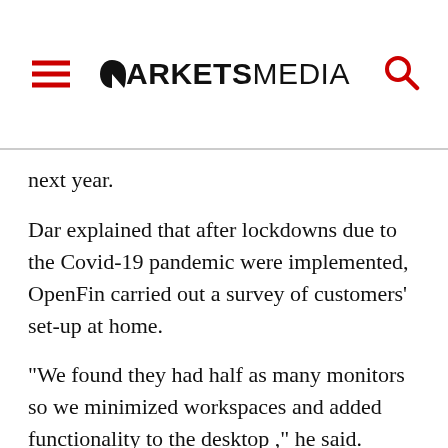MARKETS MEDIA
next year.
Dar explained that after lockdowns due to the Covid-19 pandemic were implemented, OpenFin carried out a survey of customers' set-up at home.
“We found they had half as many monitors so we minimized workspaces and added functionality to the desktop ,” he said. “Some people worked both at home and in the office